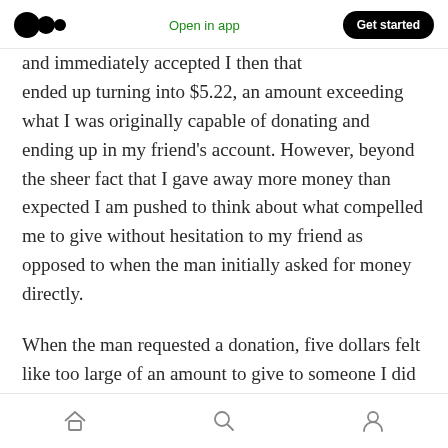Medium logo | Open in app | Get started
…and immediately accepted I then that ended up turning into $5.22, an amount exceeding what I was originally capable of donating and ending up in my friend's account. However, beyond the sheer fact that I gave away more money than expected I am pushed to think about what compelled me to give without hesitation to my friend as opposed to when the man initially asked for money directly.
When the man requested a donation, five dollars felt like too large of an amount to give to someone I did not know. I grew up with an
Home | Search | Profile